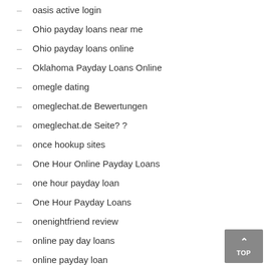oasis active login
Ohio payday loans near me
Ohio payday loans online
Oklahoma Payday Loans Online
omegle dating
omeglechat.de Bewertungen
omeglechat.de Seite? ?
once hookup sites
One Hour Online Payday Loans
one hour payday loan
One Hour Payday Loans
onenightfriend review
online pay day loans
online payday loan
online payday loans